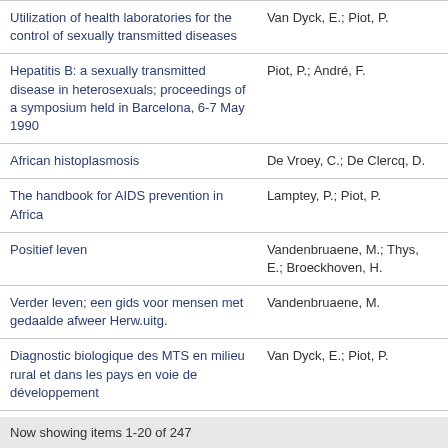| Title | Author(s) |
| --- | --- |
| Utilization of health laboratories for the control of sexually transmitted diseases | Van Dyck, E.; Piot, P. |
| Hepatitis B: a sexually transmitted disease in heterosexuals; proceedings of a symposium held in Barcelona, 6-7 May 1990 | Piot, P.; André, F. |
| African histoplasmosis | De Vroey, C.; De Clercq, D. |
| The handbook for AIDS prevention in Africa | Lamptey, P.; Piot, P. |
| Positief leven | Vandenbruaene, M.; Thys, E.; Broeckhoven, H. |
| Verder leven; een gids voor mensen met gedaalde afweer Herw.uitg. | Vandenbruaene, M. |
| Diagnostic biologique des MTS en milieu rural et dans les pays en voie de développement | Van Dyck, E.; Piot, P. |
| Risk of HIV infection and other sexually transmitted diseases for travelers | Laga, M. |
Now showing items 1-20 of 247